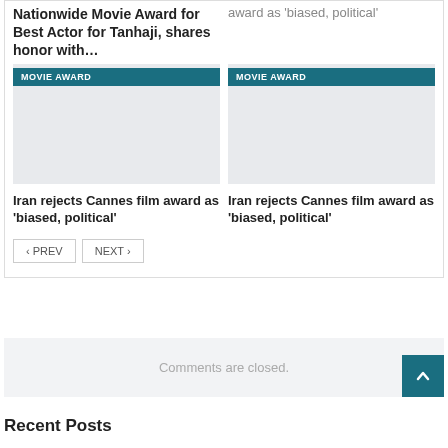Nationwide Movie Award for Best Actor for Tanhaji, shares honor with…
award as 'biased, political'
[Figure (screenshot): Movie Award card placeholder image with MOVIE AWARD badge]
Iran rejects Cannes film award as 'biased, political'
[Figure (screenshot): Movie Award card placeholder image with MOVIE AWARD badge]
Iran rejects Cannes film award as 'biased, political'
‹ PREV   NEXT ›
Comments are closed.
Recent Posts